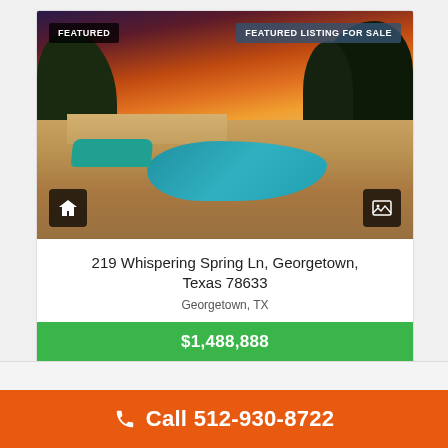[Figure (photo): Outdoor pool area with natural stone patio, lounge chairs, trees, and dramatic sunset sky with orange and purple clouds]
FEATURED
FEATURED LISTING FOR SALE
219 Whispering Spring Ln, Georgetown, Texas 78633
Georgetown, TX
$1,488,888
Call 512-930-8722